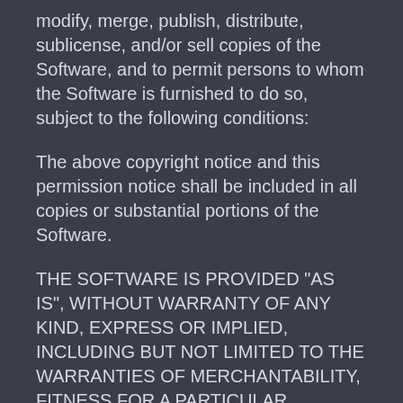modify, merge, publish, distribute, sublicense, and/or sell copies of the Software, and to permit persons to whom the Software is furnished to do so, subject to the following conditions:
The above copyright notice and this permission notice shall be included in all copies or substantial portions of the Software.
THE SOFTWARE IS PROVIDED "AS IS", WITHOUT WARRANTY OF ANY KIND, EXPRESS OR IMPLIED, INCLUDING BUT NOT LIMITED TO THE WARRANTIES OF MERCHANTABILITY, FITNESS FOR A PARTICULAR PURPOSE AND NONINFRINGEMENT. IN NO EVENT SHALL THE AUTHORS OR COPYRIGHT HOLDERS BE LIABLE FOR ANY CLAIM, DAMAGES OR OTHER LIABILITY, WHETHER IN AN ACTION